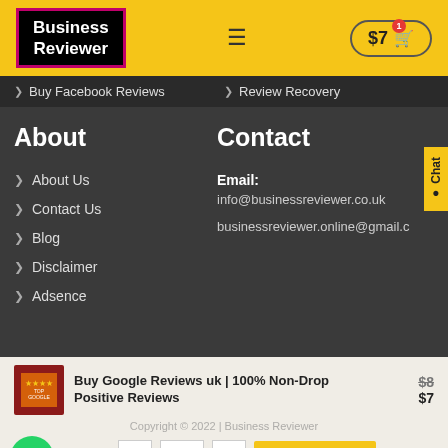[Figure (logo): Business Reviewer logo — white bold text on black background with pink/magenta border]
Buy Facebook Reviews
Review Recovery
About
Contact
About Us
Contact Us
Blog
Disclaimer
Adsence
Email: info@businessreviewer.co.uk
businessreviewer.online@gmail.c
Buy Google Reviews uk | 100% Non-Drop Positive Reviews  $8  $7
Copyright © 2022 | Business Reviewer